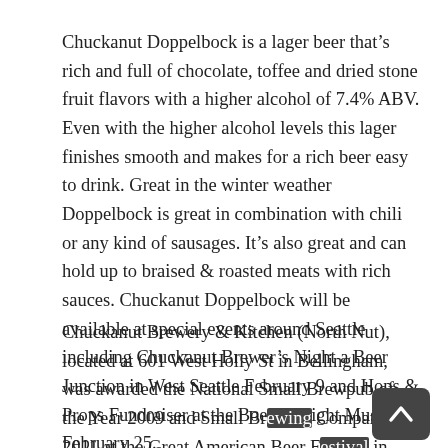Chuckanut Doppelbock is a lager beer that's rich and full of chocolate, toffee and dried stone fruit flavors with a higher alcohol of 7.4% ABV. Even with the higher alcohol levels this lager finishes smooth and makes for a rich beer easy to drink. Great in the winter weather Doppelbock is great in combination with chili or any kind of sausages. It's also great and can hold up to braised & roasted meats with rich sauces. Chuckanut Doppelbock will be available at special events around Seattle including Chuckanut Brewer's Night a Beer Junction in West Seattle February 9 and Hops & Props Fundraiser at the Boeing Flight Museum February 25.
Chuckanut Brewery & Kitchen (North Nut), located at 601 West Holly St in Bellingham, was awarded the National Small Brewpub of the Year 2009 and Small Brewing Company 2011 at the Great American Beer Festival in Denver, CO. The national festival competition is the